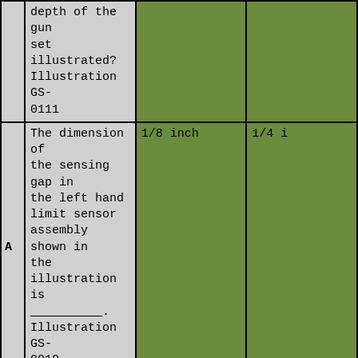|  | Question | Answer 1 | Answer 2 |
| --- | --- | --- | --- |
|  | depth of the gun set illustrated? Illustration GS-0111 |  |  |
| A | The dimension of the sensing gap in the left hand limit sensor assembly shown in the illustration is _________. Illustration GS-0010 | 1/8 inch | 1/4 i... |
| B | The shaft shown in the illustration has an overall length of 42 inches in addition to the following dimensions of "A" = 8", "B" = 8", "C" = 10", and "D"=8 3/16" The tapered length "X" is _________. Illustration GS-... | 6.375 inches | 7.81... |